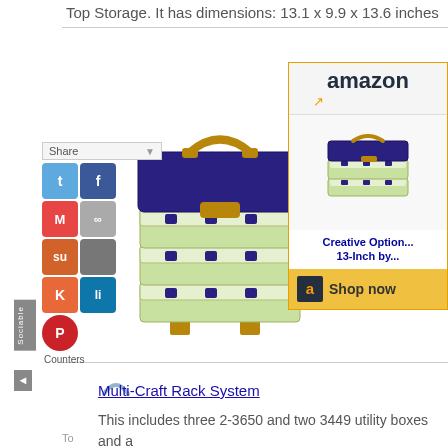Top Storage. It has dimensions: 13.1 x 9.9 x 13.6 inches
[Figure (photo): A stackable multi-tray plastic tackle/utility box system with green trays, clear lids, blue clasps, and a gold handle on the top dark blue lid.]
[Figure (screenshot): Amazon advertisement showing the same multi-craft rack system product with 'Creative Option... 13-Inch by...' title link and a 'Shop now' button.]
Multi-Craft Rack System
This includes three 2-3650 and two 3449 utility boxes and a access storage on lid and large bulk storage area. Its dime (Length) x 9-3/4-Inch (Width) by 11-Inch (Height).